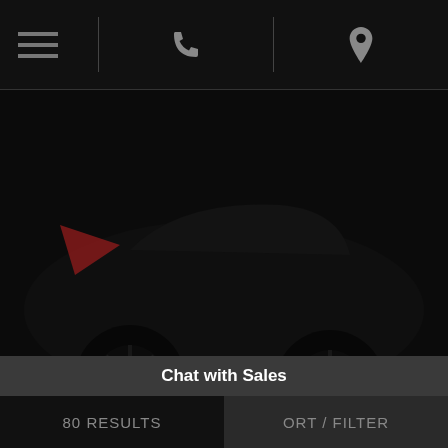Navigation bar with hamburger menu, phone icon, and location pin icon
[Figure (photo): Dark photograph of a dark-colored car (Toyota Prius) with overlay text reading 'PHOTOS À VENIR' and phone number '1-877-762-3528', Honda logo in bottom right corner]
Details!
Finance it!
TOYOTA
2015 Prius
$22,989
80 RESULTS   ORT / FILTER
Chat with Sales